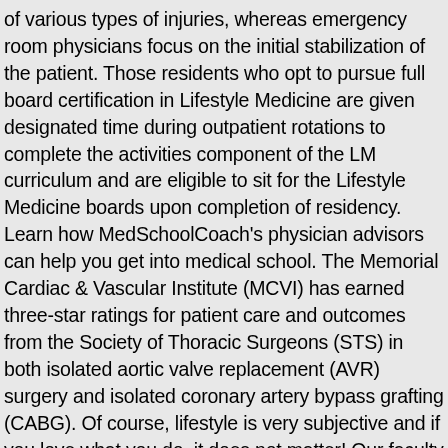of various types of injuries, whereas emergency room physicians focus on the initial stabilization of the patient. Those residents who opt to pursue full board certification in Lifestyle Medicine are given designated time during outpatient rotations to complete the activities component of the LM curriculum and are eligible to sit for the Lifestyle Medicine boards upon completion of residency. Learn how MedSchoolCoach's physician advisors can help you get into medical school. The Memorial Cardiac & Vascular Institute (MCVI) has earned three-star ratings for patient care and outcomes from the Society of Thoracic Surgeons (STS) in both isolated aortic valve replacement (AVR) surgery and isolated coronary artery bypass grafting (CABG). Of course, lifestyle is very subjective and if you love what you do, it does not matter! Our faculty is an enthusiastic group of EM physicians from a multitude of backgrounds excited about teaching. Our program is designed to provide broad-based clinical training with an emphasis on preparation for clinical emergency medicine practice. Teaching residents in an urban setting is important to